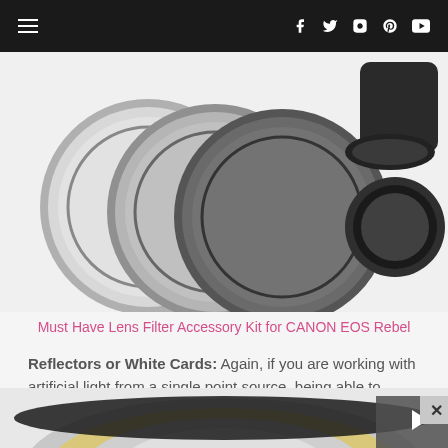Navigation bar with hamburger menu and social media icons (Facebook, Twitter, Instagram, Pinterest, YouTube)
[Figure (photo): Photography lens filters (three circular ND filters in graduated grey tones) and a lens hood accessory on white background]
Must Have Lens Filter Accessory Kit for CANON EOS Rebel
Reflectors or White Cards: Again, if you are working with artificial light from a single point source, being able to bounce the light around with reflectors is great.
[Figure (photo): Partial view of a collapsible 5-in-1 photography reflector disc with gold, silver, and white panels visible at bottom of page]